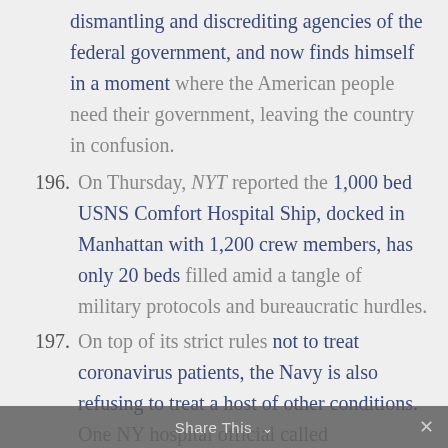dismantling and discrediting agencies of the federal government, and now finds himself in a moment where the American people need their government, leaving the country in confusion.
196. On Thursday, NYT reported the 1,000 bed USNS Comfort Hospital Ship, docked in Manhattan with 1,200 crew members, has only 20 beds filled amid a tangle of military protocols and bureaucratic hurdles.
197. On top of its strict rules not to treat coronavirus patients, the Navy is also refusing to treat a host of other conditions. One NY hospital official called
Share This ∨  ✕